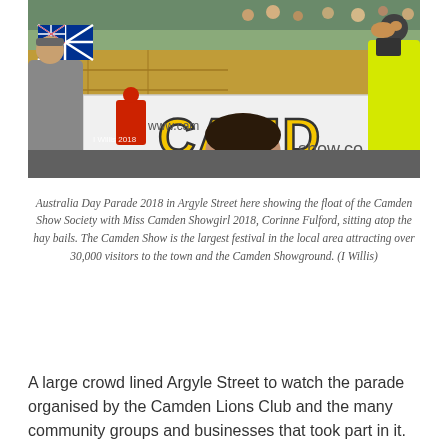[Figure (photo): Australia Day Parade 2018 in Argyle Street showing the float of the Camden Show Society with a large banner reading 'CAMD' (Camden) and website www.camden show.co, hay bales, Australian flag, crowd in background, person in hi-vis vest on right, people in foreground. Watermark reads 'I Willis 2018'.]
Australia Day Parade 2018 in Argyle Street here showing the float of the Camden Show Society with Miss Camden Showgirl 2018, Corinne Fulford, sitting atop the hay bails. The Camden Show is the largest festival in the local area attracting over 30,000 visitors to the town and the Camden Showground. (I Willis)
A large crowd lined Argyle Street to watch the parade organised by the Camden Lions Club and the many community groups and businesses that took part in it.